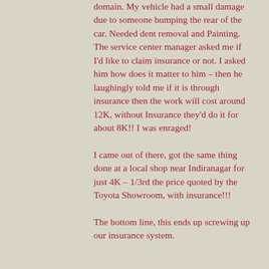domain. My vehicle had a small damage due to someone bumping the rear of the car. Needed dent removal and Painting. The service center manager asked me if I'd like to claim insurance or not. I asked him how does it matter to him – then he laughingly told me if it is through insurance then the work will cost around 12K, without Insurance they'd do it for about 8K!! I was enraged!
I came out of there, got the same thing done at a local shop near Indiranagar for just 4K – 1/3rd the price quoted by the Toyota Showroom, with insurance!!!
The bottom line, this ends up screwing up our insurance system.